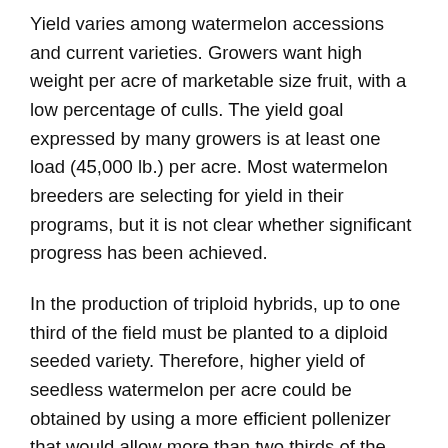Yield varies among watermelon accessions and current varieties. Growers want high weight per acre of marketable size fruit, with a low percentage of culls. The yield goal expressed by many growers is at least one load (45,000 lb.) per acre. Most watermelon breeders are selecting for yield in their programs, but it is not clear whether significant progress has been achieved.
In the production of triploid hybrids, up to one third of the field must be planted to a diploid seeded variety. Therefore, higher yield of seedless watermelon per acre could be obtained by using a more efficient pollenizer that would allow more than two thirds of the field to be planted to the triploid variety. Alternatively, parthenocarpic fruit set (genetic or hormone-induced) to stimulate fruit set would permit the entire field to be